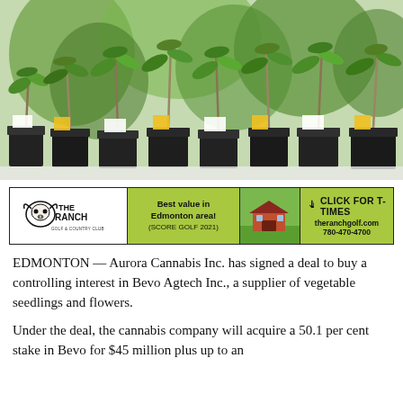[Figure (photo): Cannabis seedlings in black plastic pots with yellow and white labels, in a greenhouse setting.]
[Figure (other): Advertisement for The Ranch Golf and Country Club. Text: 'Best value in Edmonton area! (Score Golf 2021)', 'CLICK FOR T-TIMES theranchgolf.com 780-470-4700'. Features ranch logo and barn image.]
EDMONTON — Aurora Cannabis Inc. has signed a deal to buy a controlling interest in Bevo Agtech Inc., a supplier of vegetable seedlings and flowers.
Under the deal, the cannabis company will acquire a 50.1 per cent stake in Bevo for $45 million plus up to an